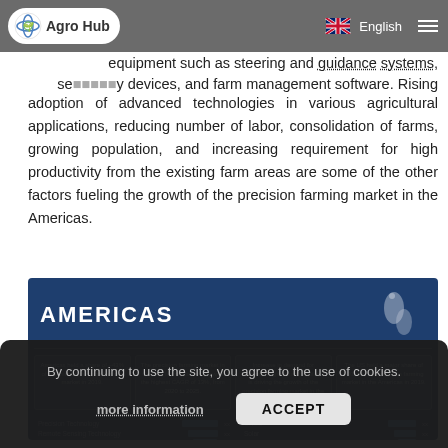Agro Hub | English
equipment such as steering and guidance systems, sensor display devices, and farm management software. Rising adoption of advanced technologies in various agricultural applications, reducing number of labor, consolidation of farms, growing population, and increasing requirement for high productivity from the existing farm areas are some of the other factors fueling the growth of the precision farming market in the Americas.
[Figure (infographic): Americas infographic panel with dark blue background showing title 'AMERICAS' and four info cards: 1) Americas held a share of ~43% of the overall precision farming market in 2019. 2) The precision farming market in Canada is expected to grow at the highest CAGR of 13%, from 2020 to 2025. 3) Increase in demand for advanced agricultural solutions is driving the growth of the precision farming market in the Americas. 4) The US held a major share of ~91% of the precision farming market in the Americas in 2019.]
By continuing to use the site, you agree to the use of cookies.
more information   ACCEPT